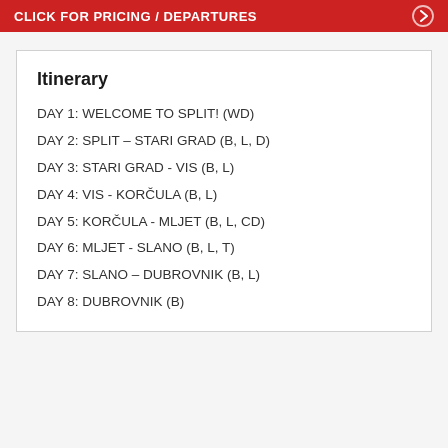CLICK FOR PRICING / DEPARTURES
Itinerary
DAY 1: WELCOME TO SPLIT! (WD)
DAY 2: SPLIT – STARI GRAD (B, L, D)
DAY 3: STARI GRAD - VIS (B, L)
DAY 4: VIS - KORČULA (B, L)
DAY 5: KORČULA - MLJET (B, L, CD)
DAY 6: MLJET - SLANO (B, L, T)
DAY 7: SLANO – DUBROVNIK (B, L)
DAY 8: DUBROVNIK (B)